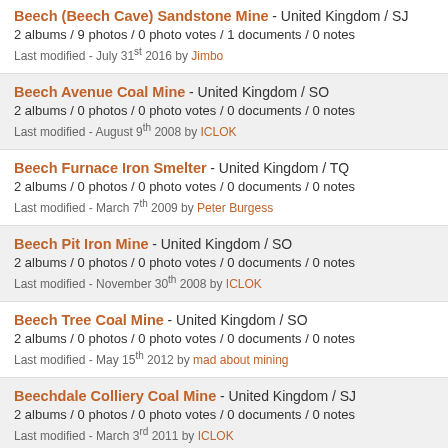Beech (Beech Cave) Sandstone Mine - United Kingdom / SJ
2 albums / 9 photos / 0 photo votes / 1 documents / 0 notes
Last modified - July 31st 2016 by Jimbo
Beech Avenue Coal Mine - United Kingdom / SO
2 albums / 0 photos / 0 photo votes / 0 documents / 0 notes
Last modified - August 9th 2008 by ICLOK
Beech Furnace Iron Smelter - United Kingdom / TQ
2 albums / 0 photos / 0 photo votes / 0 documents / 0 notes
Last modified - March 7th 2009 by Peter Burgess
Beech Pit Iron Mine - United Kingdom / SO
2 albums / 0 photos / 0 photo votes / 0 documents / 0 notes
Last modified - November 30th 2008 by ICLOK
Beech Tree Coal Mine - United Kingdom / SO
2 albums / 0 photos / 0 photo votes / 0 documents / 0 notes
Last modified - May 15th 2012 by mad about mining
Beechdale Colliery Coal Mine - United Kingdom / SJ
2 albums / 0 photos / 0 photo votes / 0 documents / 0 notes
Last modified - March 3rd 2011 by ICLOK